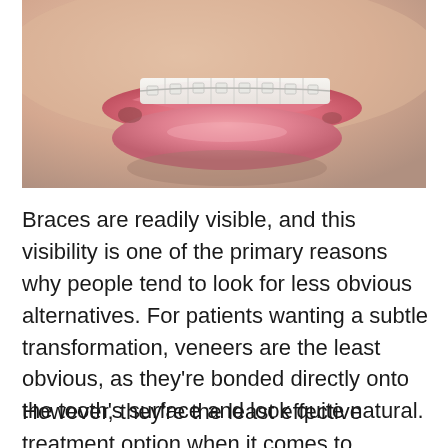[Figure (photo): Close-up photograph of a person's mouth showing white ceramic/clear braces on upper teeth, with pink lips visible]
Braces are readily visible, and this visibility is one of the primary reasons why people tend to look for less obvious alternatives. For patients wanting a subtle transformation, veneers are the least obvious, as they're bonded directly onto the tooth's surface and look quite natural.
However, they're the least effective treatment option when it comes to guiding teeth into the right